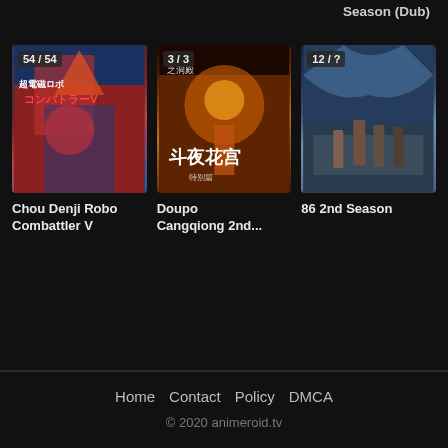Season (Dub)
[Figure (illustration): Anime card: Chou Denji Robo Combattler V with episode badge 54 / 54]
Chou Denji Robo Combattler V
[Figure (illustration): Anime card: Doupo Cangqiong 2nd... with episode badge 3 / 3]
Doupo Cangqiong 2nd...
[Figure (illustration): Anime card: 86 2nd Season with episode badge 12 / ?]
86 2nd Season
Home  Contact  Policy  DMCA
© 2020 animeroid.tv